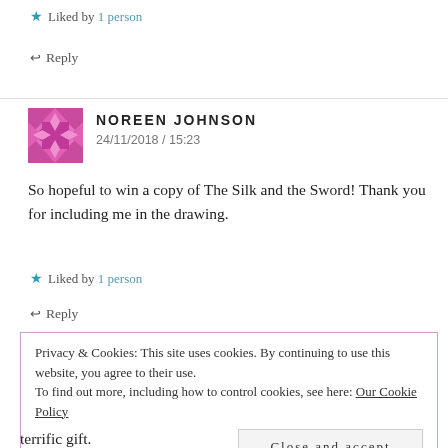★ Liked by 1 person
↩ Reply
[Figure (illustration): Avatar image for Noreen Johnson — pink/magenta geometric pattern icon]
NOREEN JOHNSON
24/11/2018 / 15:23
So hopeful to win a copy of The Silk and the Sword! Thank you for including me in the drawing.
★ Liked by 1 person
↩ Reply
Privacy & Cookies: This site uses cookies. By continuing to use this website, you agree to their use.
To find out more, including how to control cookies, see here: Our Cookie Policy
Close and accept
terrific gift.